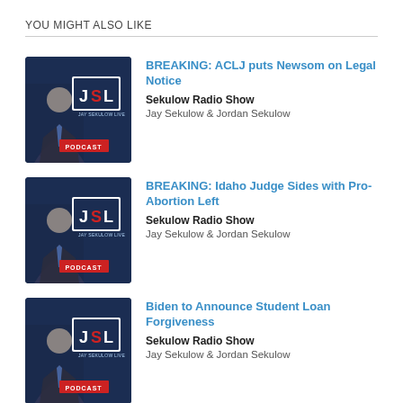YOU MIGHT ALSO LIKE
[Figure (photo): Jay Sekulow Live Podcast cover art - JSL logo on dark blue background with man in suit]
BREAKING: ACLJ puts Newsom on Legal Notice
Sekulow Radio Show
Jay Sekulow & Jordan Sekulow
[Figure (photo): Jay Sekulow Live Podcast cover art - JSL logo on dark blue background with man in suit]
BREAKING: Idaho Judge Sides with Pro-Abortion Left
Sekulow Radio Show
Jay Sekulow & Jordan Sekulow
[Figure (photo): Jay Sekulow Live Podcast cover art - JSL logo on dark blue background with man in suit]
Biden to Announce Student Loan Forgiveness
Sekulow Radio Show
Jay Sekulow & Jordan Sekulow